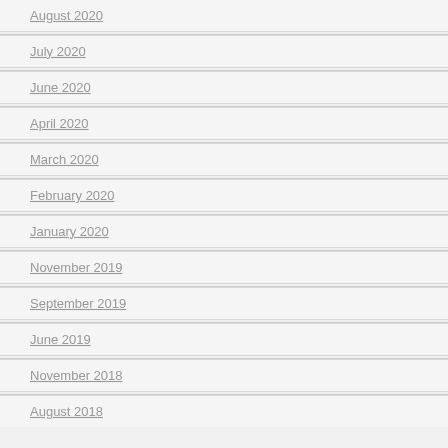August 2020
July 2020
June 2020
April 2020
March 2020
February 2020
January 2020
November 2019
September 2019
June 2019
November 2018
August 2018